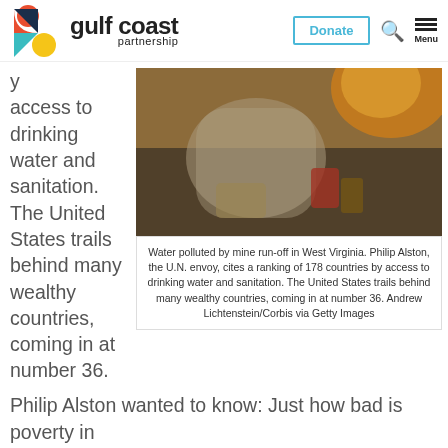gulf coast partnership | Donate | Search | Menu
access to drinking water and sanitation. The United States trails behind many wealthy countries, coming in at number 36.
[Figure (photo): Water polluted by mine run-off in West Virginia — plastic bags and canned goods in murky water with orange/rust coloring.]
Water polluted by mine run-off in West Virginia. Philip Alston, the U.N. envoy, cites a ranking of 178 countries by access to drinking water and sanitation. The United States trails behind many wealthy countries, coming in at number 36. Andrew Lichtenstein/Corbis via Getty Images
Philip Alston wanted to know: Just how bad is poverty in the United States?